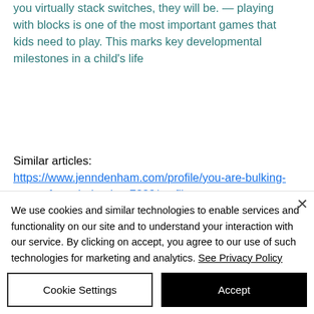you virtually stack switches, they will be. — playing with blocks is one of the most important games that kids need to play. This marks key developmental milestones in a child's life
Similar articles:
https://www.jenndenham.com/profile/you-are-bulking-sarms-for-sale-london-7889/profile
https://www.pariskellyimages.com/profile/bulking-quickly-bulking-workout-8324/profile
https://...
We use cookies and similar technologies to enable services and functionality on our site and to understand your interaction with our service. By clicking on accept, you agree to our use of such technologies for marketing and analytics. See Privacy Policy